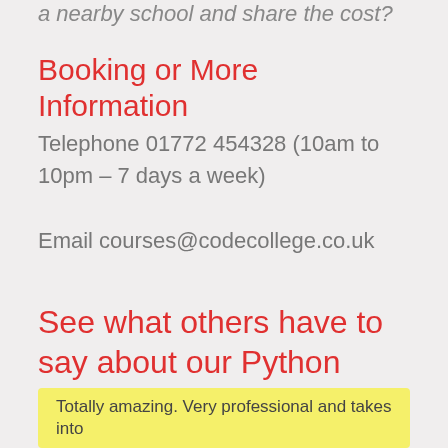a nearby school and share the cost?
Booking or More Information
Telephone 01772 454328 (10am to 10pm – 7 days a week)
Email courses@codecollege.co.uk
See what others have to say about our Python Course.....
Totally amazing. Very professional and takes into